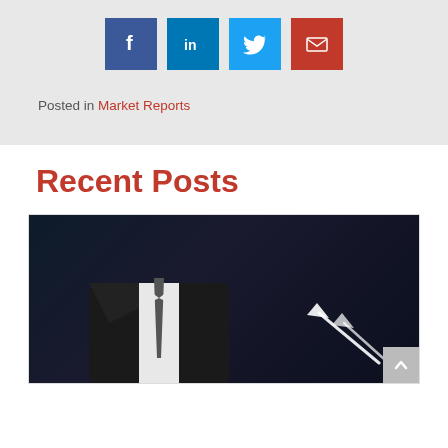[Figure (other): Social media share buttons: Facebook (dark blue), LinkedIn (medium blue), Twitter (light blue), Email (red)]
Posted in Market Reports
Recent Posts
[Figure (photo): Dark photo of a man in a suit and tie with bright arrow/light streaks in the lower right, suggesting upward financial trends]